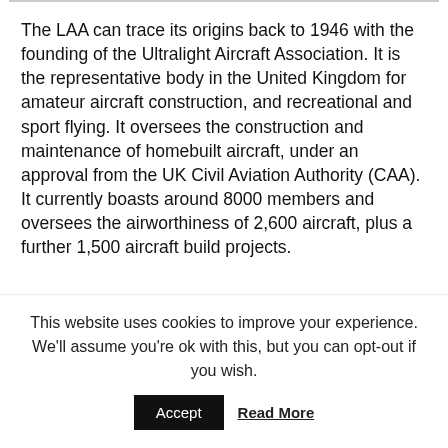The LAA can trace its origins back to 1946 with the founding of the Ultralight Aircraft Association. It is the representative body in the United Kingdom for amateur aircraft construction, and recreational and sport flying. It oversees the construction and maintenance of homebuilt aircraft, under an approval from the UK Civil Aviation Authority (CAA). It currently boasts around 8000 members and oversees the airworthiness of 2,600 aircraft, plus a further 1,500 aircraft build projects.
[Figure (photo): Partial photograph showing sky with clouds, appears to be an aerial or sky scene]
This website uses cookies to improve your experience. We'll assume you're ok with this, but you can opt-out if you wish.
Accept   Read More